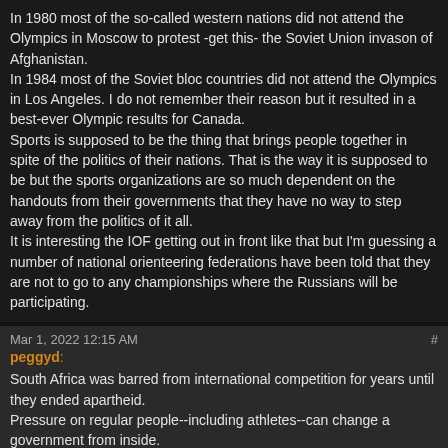In 1980 most of the so-called western nations did not attend the Olympics in Moscow to protest -get this- the Soviet Union invason of Afghanistan.
In 1984 most of the Soviet bloc countries did not attend the Olympics in Los Angeles. I do not remember their reason but it resulted in a best-ever Olympic results for Canada.
Sports is supposed to be the thing that brings people together in spite of the politics of their nations. That is the way it is supposed to be but the sports organizations are so much dependent on the handouts from their governments that they have no way to step away from the politics of it all.
It is interesting the IOF getting out in front like that but I'm guessing a number of national orienteering federations have been told that they are not to go to any championships where the Russians will be participating.
Mar 1, 2022 12:15 AM
peggyd:
South Africa was barred from international competition for years until they ended apartheid.
Pressure on regular people--including athletes--can change a government from inside.
Mar 1, 2022 12:16 AM
fossil:
Soviet led boycott in 1984 was in retaliation for the 1980 boycott.